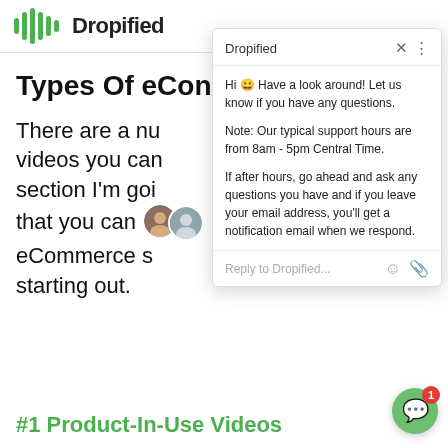[Figure (logo): Dropified logo with green sound-wave bars and bold text 'Dropified']
Types of eCon
There are a nu videos you can section I'm goi that you can easily add to your eCommerce s starting out.
[Figure (screenshot): Dropified chat widget popup showing: 'Hi 😀 Have a look around! Let us know if you have any questions. Note: Our typical support hours are from 8am - 5pm Central Time. If after hours, go ahead and ask any questions you have and if you leave your email address, you'll get a notification email when we respond.' with a reply input field, emoji and attachment icons, and a green chat bubble button with notification badge '1']
#1 Product-In-Use Videos